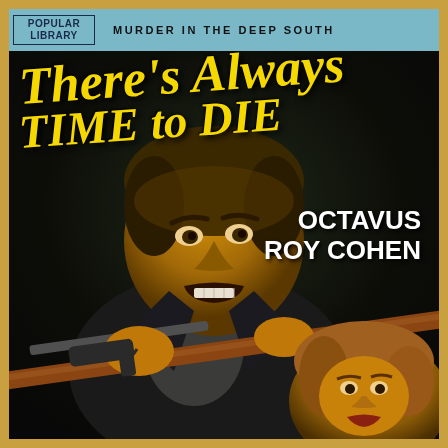POPULAR LIBRARY
MURDER IN THE DEEP SOUTH
196
There's Always TIME to DIE
OCTAVUS ROY COHEN
[Figure (illustration): Pulp fiction book cover illustration showing a grimacing man in dark clothing holding a gun and gripping a wooden rifle or pole, with a woman with curly hair visible in the lower right corner. Dark moody background.]